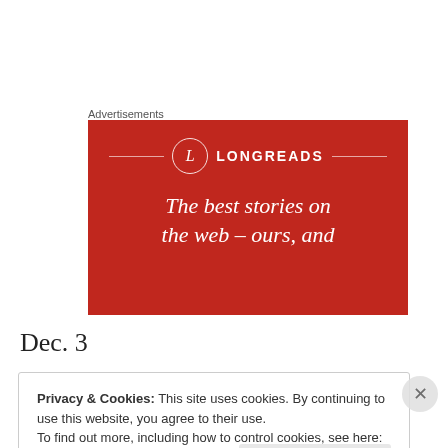Advertisements
[Figure (illustration): Longreads advertisement banner on red background with circular L logo and text: The best stories on the web - ours, and]
Dec. 3
Privacy & Cookies: This site uses cookies. By continuing to use this website, you agree to their use. To find out more, including how to control cookies, see here: Cookie Policy
Close and accept